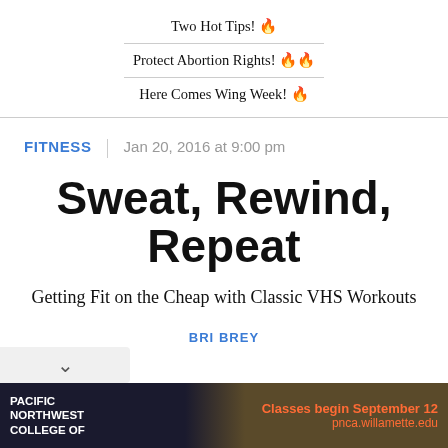Two Hot Tips! 🔥
Protect Abortion Rights! 🔥🔥
Here Comes Wing Week! 🔥
FITNESS  |  Jan 20, 2016 at 9:00 pm
Sweat, Rewind, Repeat
Getting Fit on the Cheap with Classic VHS Workouts
BRI BREY
[Figure (other): Advertisement banner for Pacific Northwest College of Art — 'Classes begin September 12 pnca.willamette.edu']